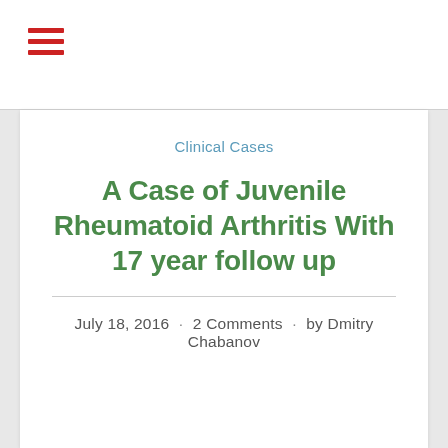Clinical Cases
A Case of Juvenile Rheumatoid Arthritis With 17 year follow up
July 18, 2016 · 2 Comments · by Dmitry Chabanov